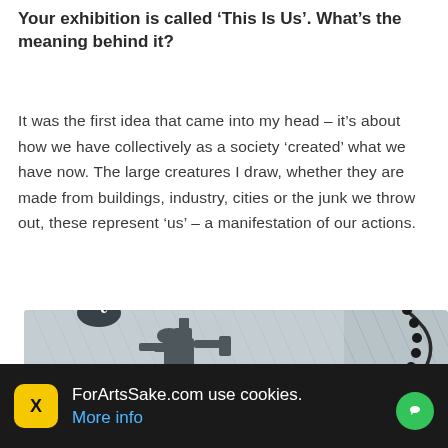Your exhibition is called ‘This Is Us’. What’s the meaning behind it?
It was the first idea that came into my head – it’s about how we have collectively as a society ‘created’ what we have now. The large creatures I draw, whether they are made from buildings, industry, cities or the junk we throw out, these represent ‘us’ – a manifestation of our actions.
[Figure (illustration): A detailed black and white illustration showing a large creature made of urban/industrial elements, with buildings and machinery, set against a stormy background with diagonal rain lines and a curved chain-like tail.]
ForArtsSake.com use cookies. More info